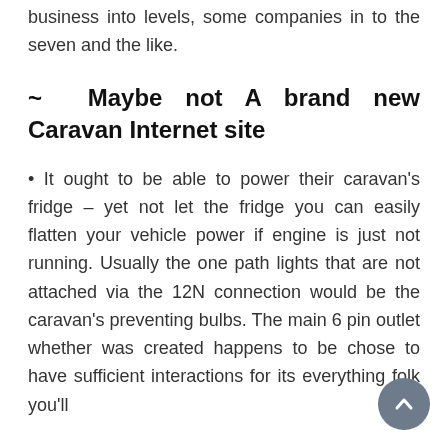business into levels, some companies in to the seven and the like.
~ Maybe not A brand new Caravan Internet site
• It ought to be able to power their caravan's fridge – yet not let the fridge you can easily flatten your vehicle power if engine is just not running. Usually the one path lights that are not attached via the 12N connection would be the caravan's preventing bulbs. The main 6 pin outlet whether was created happens to be chose to have sufficient interactions for its everything folk you'll actually ever you will want. Regrettably a